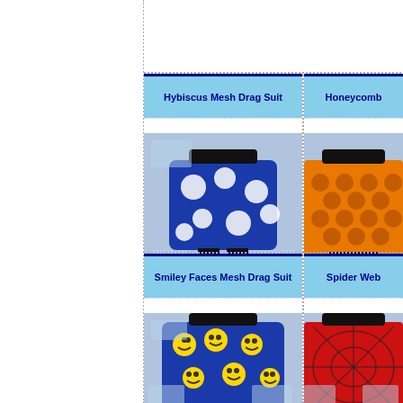[Figure (photo): Hybiscus Mesh Drag Suit - blue swim trunks with white hibiscus flower pattern on mannequin]
Hybiscus Mesh Drag Suit
Price: $34.00
[Figure (photo): Honeycomb pattern drag suit - orange/yellow honeycomb pattern on mannequin (partially visible)]
Honeycomb
Pric
[Figure (photo): Smiley Faces Mesh Drag Suit - blue trunks with yellow smiley faces on mannequin]
Smiley Faces Mesh Drag Suit
[Figure (photo): Spider Web drag suit - red with spider web pattern on mannequin (partially visible)]
Spider Web